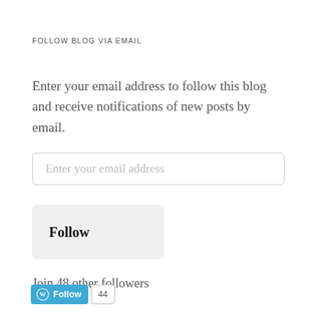FOLLOW BLOG VIA EMAIL
Enter your email address to follow this blog and receive notifications of new posts by email.
Enter your email address
Follow
Join 48 other followers
[Figure (other): WordPress Follow button with blue background showing WordPress logo and 'Follow' label, followed by a count badge showing '44']